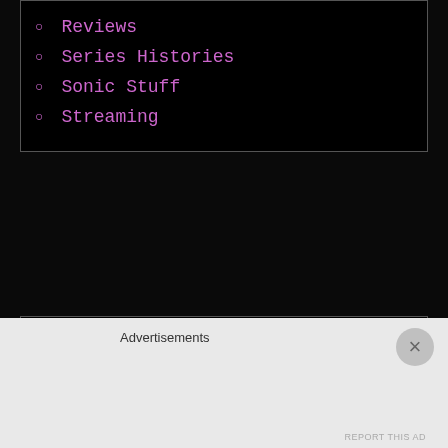Reviews
Series Histories
Sonic Stuff
Streaming
[Figure (other): Empty black box widget area]
ARCHIVES
[Figure (other): Select Month dropdown widget]
[Figure (other): Partially visible empty black box widget area]
Advertisements